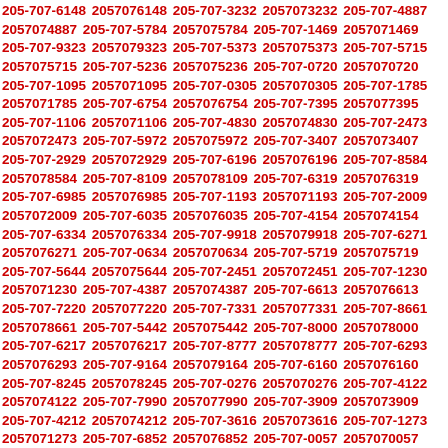205-707-6148 2057076148 205-707-3232 2057073232 205-707-4887 2057074887 205-707-5784 2057075784 205-707-1469 2057071469 205-707-9323 2057079323 205-707-5373 2057075373 205-707-5715 2057075715 205-707-5236 2057075236 205-707-0720 2057070720 205-707-1095 2057071095 205-707-0305 2057070305 205-707-1785 2057071785 205-707-6754 2057076754 205-707-7395 2057077395 205-707-1106 2057071106 205-707-4830 2057074830 205-707-2473 2057072473 205-707-5972 2057075972 205-707-3407 2057073407 205-707-2929 2057072929 205-707-6196 2057076196 205-707-8584 2057078584 205-707-8109 2057078109 205-707-6319 2057076319 205-707-6985 2057076985 205-707-1193 2057071193 205-707-2009 2057072009 205-707-6035 2057076035 205-707-4154 2057074154 205-707-6334 2057076334 205-707-9918 2057079918 205-707-6271 2057076271 205-707-0634 2057070634 205-707-5719 2057075719 205-707-5644 2057075644 205-707-2451 2057072451 205-707-1230 2057071230 205-707-4387 2057074387 205-707-6613 2057076613 205-707-7220 2057077220 205-707-7331 2057077331 205-707-8661 2057078661 205-707-5442 2057075442 205-707-8000 2057078000 205-707-6217 2057076217 205-707-8777 2057078777 205-707-6293 2057076293 205-707-9164 2057079164 205-707-6160 2057076160 205-707-8245 2057078245 205-707-0276 2057070276 205-707-4122 2057074122 205-707-7990 2057077990 205-707-3909 2057073909 205-707-4212 2057074212 205-707-3616 2057073616 205-707-1273 2057071273 205-707-6852 2057076852 205-707-0057 2057070057 205-707-4908 2057074908 205-707-7875 2057077875 205-707-6077